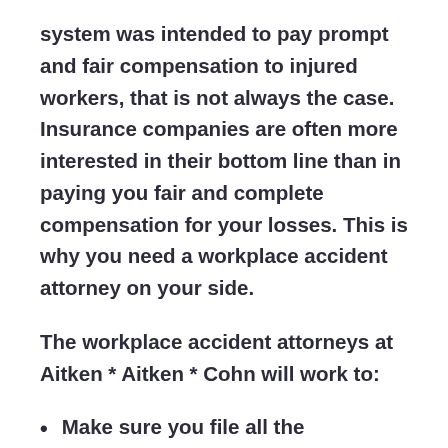system was intended to pay prompt and fair compensation to injured workers, that is not always the case. Insurance companies are often more interested in their bottom line than in paying you fair and complete compensation for your losses. This is why you need a workplace accident attorney on your side.
The workplace accident attorneys at Aitken * Aitken * Cohn will work to:
Make sure you file all the necessary forms and meet claim filing deadlines;